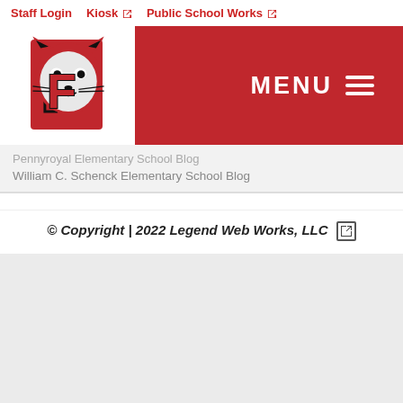Staff Login  Kiosk  Public School Works
[Figure (logo): Frankfort school wildcat mascot logo with letter F]
MENU
Pennyroyal Elementary School Blog
William C. Schenck Elementary School Blog
© Copyright | 2022 Legend Web Works, LLC